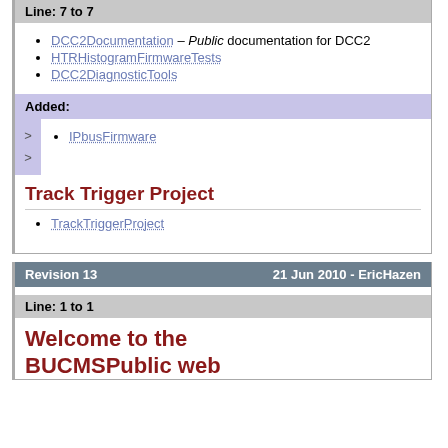Line: 7 to 7
DCC2Documentation – Public documentation for DCC2
HTRHistogramFirmwareTests
DCC2DiagnosticTools
Added:
IPbusFirmware
Track Trigger Project
TrackTriggerProject
Revision 13   21 Jun 2010 - EricHazen
Line: 1 to 1
Welcome to the BUCMSPublic web